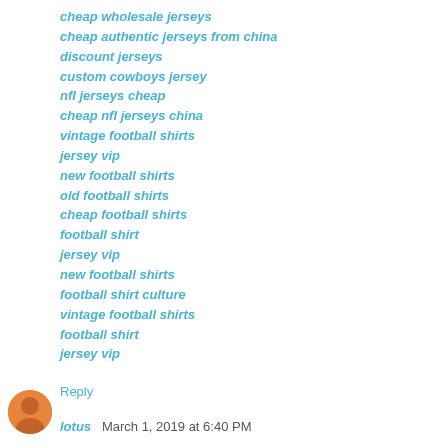cheap wholesale jerseys
cheap authentic jerseys from china
discount jerseys
custom cowboys jersey
nfl jerseys cheap
cheap nfl jerseys china
vintage football shirts
jersey vip
new football shirts
old football shirts
cheap football shirts
football shirt
jersey vip
new football shirts
football shirt culture
vintage football shirts
football shirt
jersey vip
Reply
lotus  March 1, 2019 at 6:40 PM